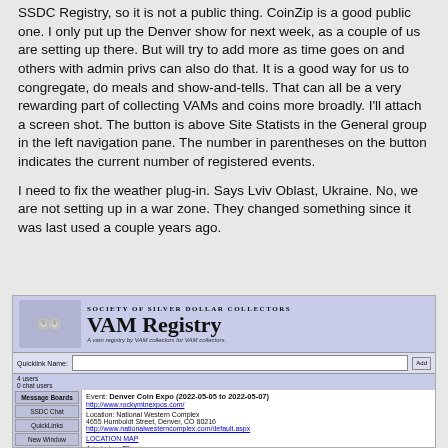SSDC Registry, so it is not a public thing. CoinZip is a good public one. I only put up the Denver show for next week, as a couple of us are setting up there. But will try to add more as time goes on and others with admin privs can also do that. It is a good way for us to congregate, do meals and show-and-tells. That can all be a very rewarding part of collecting VAMs and coins more broadly. I'll attach a screen shot. The button is above Site Statists in the General group in the left navigation pane. The number in parentheses on the button indicates the current number of registered events.
I need to fix the weather plug-in. Says Lviv Oblast, Ukraine. No, we are not setting up in a war zone. They changed something since it was last used a couple years ago.
[Figure (screenshot): Screenshot of SSDC VAM Registry website showing header with two silver dollar coins, 'SOCIETY OF SILVER DOLLAR COLLECTORS' title, 'VAM Registry' heading, tagline 'A vam registry by VAM collectors for VAM collectors', quicklink bar, 4 users / 0 chat users stats, navigation panel with Message Boards, SSDC Chat, QuickLinks, New Window links, and content area showing Denver Coin Expo event (2022-05-05 to 2022-05-07), location National Western Complex, 4655 Humboldt Street, Denver, CO 80216, Admission: $5]